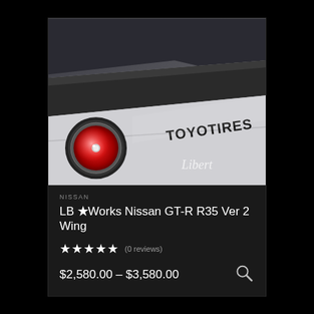[Figure (photo): Close-up rear view of a white Nissan GT-R R35 showing the spoiler/wing, a red tail light, and TOYO TIRES branding decal. The word 'Libert' is partially visible in the lower right corner. Dark background.]
NISSAN
LB ★Works Nissan GT-R R35 Ver 2 Wing
★★★★★  (0 reviews)
$2,580.00 – $3,580.00